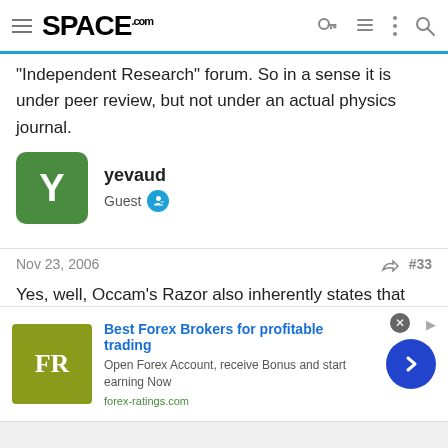SPACE.com
"Independent Research" forum. So in a sense it is under peer review, but not under an actual physics journal.
yevaud
Guest
Nov 23, 2006   #33
Yes, well, Occam's Razor also inherently states that you design a theory to fit the facts you have. The theory of Dark Matter is the best fit. Something is exerting a profound gravitational influence, even if we don't actually see it.<br /><br />Besides, there are many things in the universe we can't directly image. The idea of something that is
[Figure (other): Advertisement banner for Best Forex Brokers for profitable trading - forex-ratings.com]